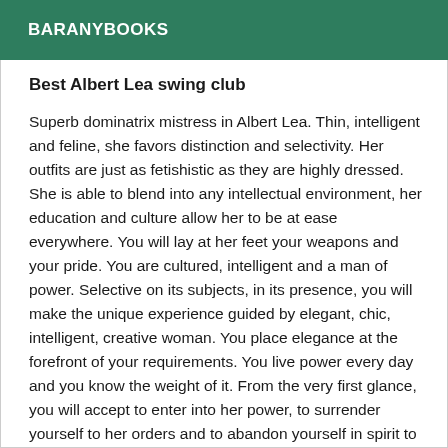BARANYBOOKS
Best Albert Lea swing club
Superb dominatrix mistress in Albert Lea. Thin, intelligent and feline, she favors distinction and selectivity. Her outfits are just as fetishistic as they are highly dressed. She is able to blend into any intellectual environment, her education and culture allow her to be at ease everywhere. You will lay at her feet your weapons and your pride. You are cultured, intelligent and a man of power. Selective on its subjects, in its presence, you will make the unique experience guided by elegant, chic, intelligent, creative woman. You place elegance at the forefront of your requirements. You live power every day and you know the weight of it. From the very first glance, you will accept to enter into her power, to surrender yourself to her orders and to abandon yourself in spirit to her commands which are never whims. Defeated, to serve her humbly you will become